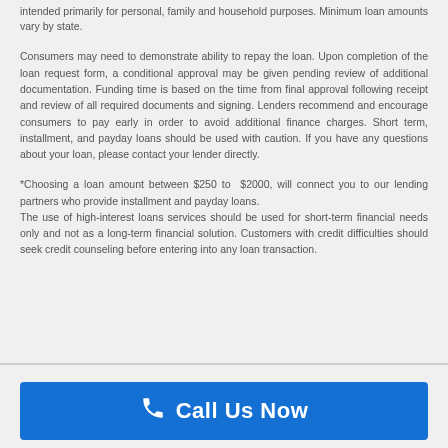intended primarily for personal, family and household purposes. Minimum loan amounts vary by state.
Consumers may need to demonstrate ability to repay the loan. Upon completion of the loan request form, a conditional approval may be given pending review of additional documentation. Funding time is based on the time from final approval following receipt and review of all required documents and signing. Lenders recommend and encourage consumers to pay early in order to avoid additional finance charges. Short term, installment, and payday loans should be used with caution. If you have any questions about your loan, please contact your lender directly.
*Choosing a loan amount between $250 to $2000, will connect you to our lending partners who provide installment and payday loans. The use of high-interest loans services should be used for short-term financial needs only and not as a long-term financial solution. Customers with credit difficulties should seek credit counseling before entering into any loan transaction.
Call Us Now